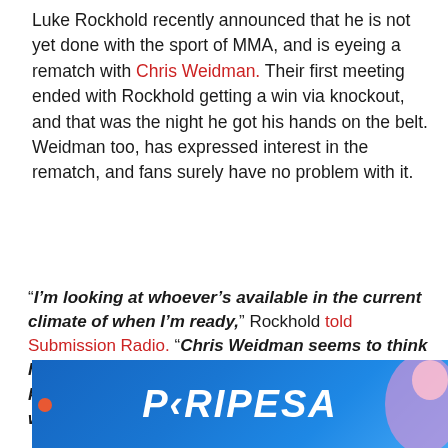Luke Rockhold recently announced that he is not yet done with the sport of MMA, and is eyeing a rematch with Chris Weidman. Their first meeting ended with Rockhold getting a win via knockout, and that was the night he got his hands on the belt. Weidman too, has expressed interest in the rematch, and fans surely have no problem with it.
“I’m looking at whoever’s available in the current climate of when I’m ready,” Rockhold told Submission Radio. “Chris Weidman seems to think he’s back in business. I beg to differ. So, you know, he’s always wanting to run it back, and I wouldn’t mind sending him back.”
[Figure (other): PARIPESA advertisement banner with blue gradient background and a woman figure on the right side]